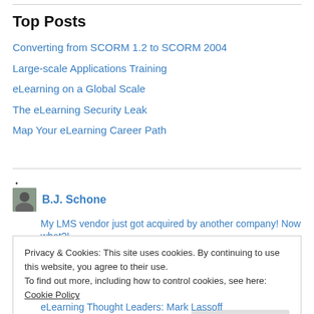Top Posts
Converting from SCORM 1.2 to SCORM 2004
Large-scale Applications Training
eLearning on a Global Scale
The eLearning Security Leak
Map Your eLearning Career Path
B.J. Schone
My LMS vendor just got acquired by another company! Now what?!
Privacy & Cookies: This site uses cookies. By continuing to use this website, you agree to their use.
To find out more, including how to control cookies, see here: Cookie Policy
Close and accept
eLearning Thought Leaders: Mark Lassoff